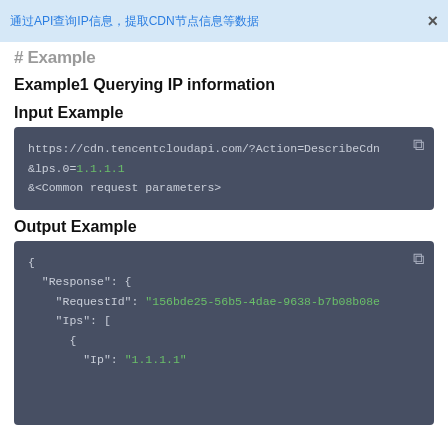通过API查询IP信息，提取CDN节点信息等数据 ×
# Example
Example1 Querying IP information
Input Example
https://cdn.tencentcloudapi.com/?Action=DescribeCdn
&lps.0=1.1.1.1
&<Common request parameters>
Output Example
{
  "Response": {
    "RequestId": "156bde25-56b5-4dae-9638-b7b08b08e
    "Ips": [
      {
        "Ip": "1.1.1.1"